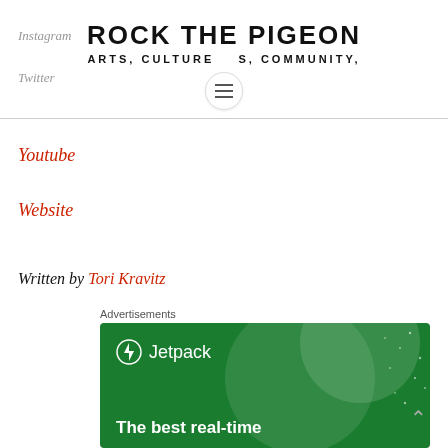ROCK THE PIGEON
ARTS, CULTURE  S, COMMUNITY,
Instagram
Twitter
Youtube
Website
Written by Tori Kravitz
Advertisements
[Figure (screenshot): Jetpack advertisement banner on green background with text 'The best real-time']